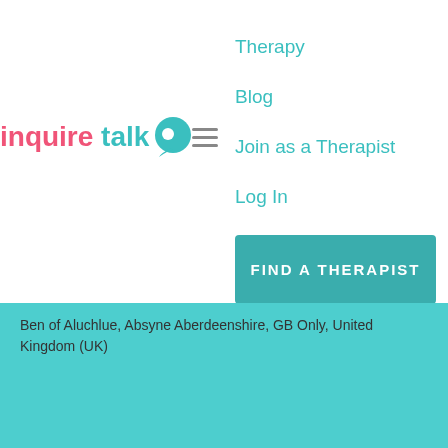[Figure (logo): Inquire Talk logo with pink 'inquire' text, teal 'talk' text and head/chat bubble icon]
Therapy
Blog
Join as a Therapist
Log In
Sign Up
FIND A THERAPIST
Ben of Aluchlue, Absyne Aberdeenshire, GB Only, United Kingdom (UK)